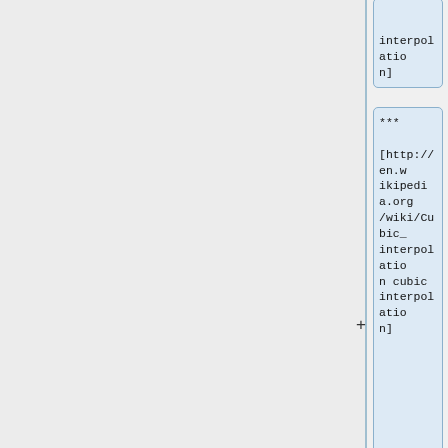interpolation]
*** [http://en.wikipedia.org/wiki/Cubic_interpolation cubic interpolation]
*** [http://en.wikipedia.org/wiki/Bicubic_interpolation bicubic interpolation]
*** [http://en.w